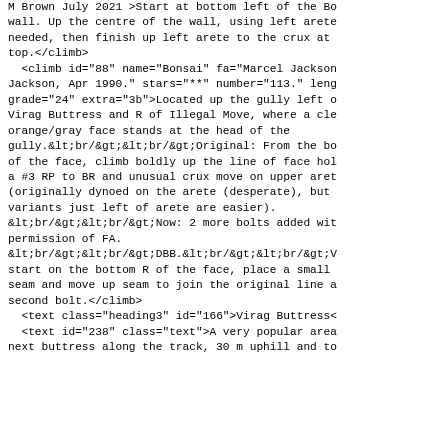M Brown July 2021 >Start at bottom left of the Bo wall. Up the centre of the wall, using left arete needed, then finish up left arete to the crux at top.</climb>
  <climb id="88" name="Bonsai" fa="Marcel Jackson Jackson, Apr 1990." stars="**" number="113." leng grade="24" extra="3b">Located up the gully left o Virag Buttress and R of Illegal Move, where a cle orange/gray face stands at the head of the gully.&lt;br/&gt;&lt;br/&gt;Original: From the bo of the face, climb boldly up the line of face hol a #3 RP to BR and unusual crux move on upper aret (originally dynoed on the arete (desperate), but variants just left of arete are easier).
&lt;br/&gt;&lt;br/&gt;Now: 2 more bolts added wit permission of FA.
&lt;br/&gt;&lt;br/&gt;DBB.&lt;br/&gt;&lt;br/&gt;V start on the bottom R of the face, place a small seam and move up seam to join the original line a second bolt.</climb>
  <text class="heading3" id="166">Virag Buttress<
  <text id="238" class="text">A very popular area next buttress along the track, 30 m uphill and to